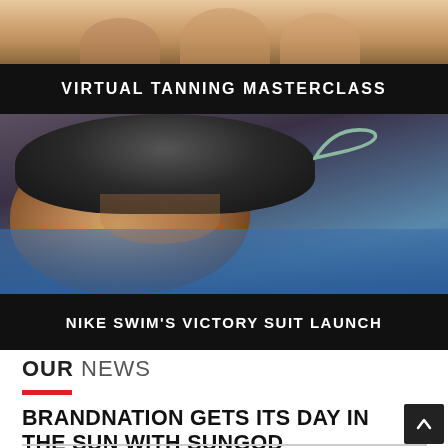[Figure (photo): Photo of women in white swimwear/tops at top of page]
VIRTUAL TANNING MASTERCLASS
[Figure (photo): Photo of a woman wearing a black Nike swim cap partially submerged in blue water, viewed from the side]
NIKE SWIM'S VICTORY SUIT LAUNCH
OUR NEWS
BRANDNATION GETS ITS DAY IN THE SUN WITH SUNGOD